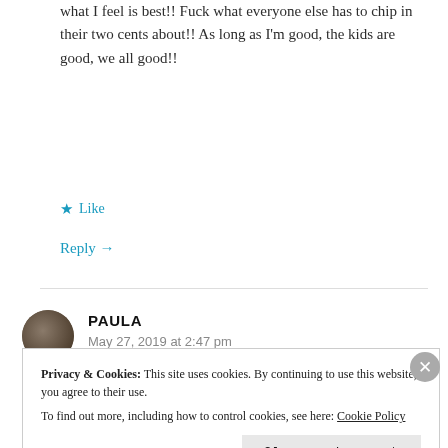what I feel is best!! Fuck what everyone else has to chip in their two cents about!! As long as I'm good, the kids are good, we all good!!
Like
Reply →
PAULA
May 27, 2019 at 2:47 pm
Could not have said it any better....this is real
Privacy & Cookies: This site uses cookies. By continuing to use this website, you agree to their use. To find out more, including how to control cookies, see here: Cookie Policy
Close and accept